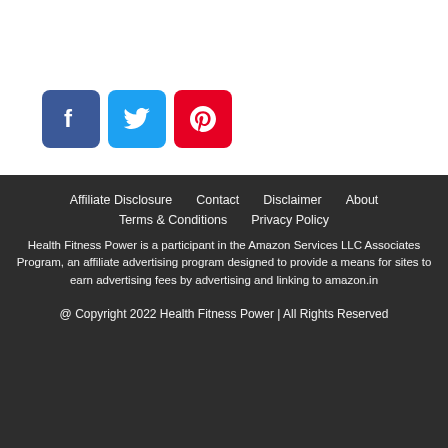[Figure (logo): Three social media icon buttons: Facebook (blue), Twitter (light blue), Pinterest (red)]
Affiliate Disclosure   Contact   Disclaimer   About
Terms & Conditions   Privacy Policy
Health Fitness Power is a participant in the Amazon Services LLC Associates Program, an affiliate advertising program designed to provide a means for sites to earn advertising fees by advertising and linking to amazon.in
@ Copyright 2022 Health Fitness Power | All Rights Reserved